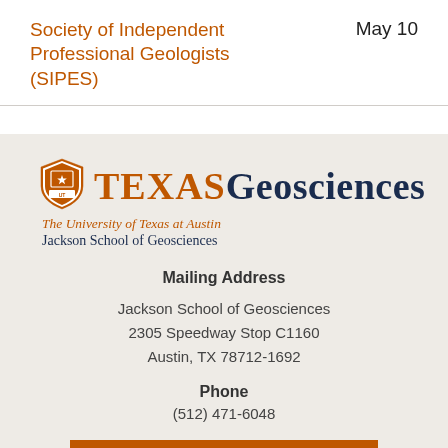Society of Independent Professional Geologists (SIPES)
May 10
[Figure (logo): University of Texas at Austin Texas Geosciences / Jackson School of Geosciences logo with UT shield]
Mailing Address
Jackson School of Geosciences
2305 Speedway Stop C1160
Austin, TX 78712-1692
Phone
(512) 471-6048
SUPPORT JSG →